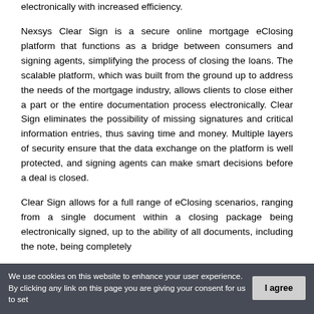electronically with increased efficiency.
Nexsys Clear Sign is a secure online mortgage eClosing platform that functions as a bridge between consumers and signing agents, simplifying the process of closing the loans. The scalable platform, which was built from the ground up to address the needs of the mortgage industry, allows clients to close either a part or the entire documentation process electronically. Clear Sign eliminates the possibility of missing signatures and critical information entries, thus saving time and money. Multiple layers of security ensure that the data exchange on the platform is well protected, and signing agents can make smart decisions before a deal is closed.
Clear Sign allows for a full range of eClosing scenarios, ranging from a single document within a closing package being electronically signed, up to the ability of all documents, including the note, being completely
We use cookies on this website to enhance your user experience. By clicking any link on this page you are giving your consent for us to set